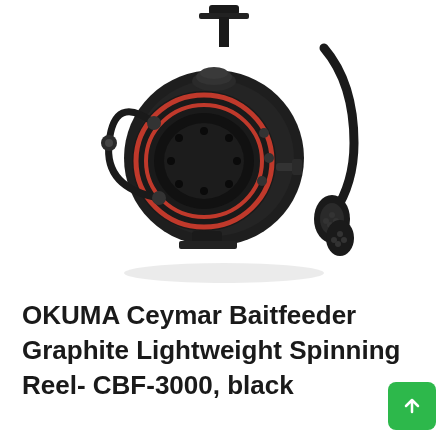[Figure (photo): A black and red OKUMA Ceymar Baitfeeder spinning fishing reel against a white background. The reel shows the spool with red accent rings, the bail arm, handle with black knob, and drag system details.]
OKUMA Ceymar Baitfeeder Graphite Lightweight Spinning Reel- CBF-3000, black